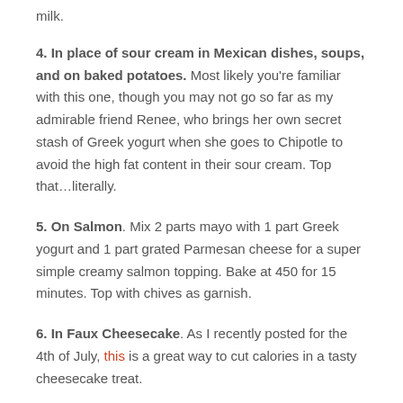milk.
4. In place of sour cream in Mexican dishes, soups, and on baked potatoes. Most likely you're familiar with this one, though you may not go so far as my admirable friend Renee, who brings her own secret stash of Greek yogurt when she goes to Chipotle to avoid the high fat content in their sour cream. Top that…literally.
5. On Salmon. Mix 2 parts mayo with 1 part Greek yogurt and 1 part grated Parmesan cheese for a super simple creamy salmon topping. Bake at 450 for 15 minutes. Top with chives as garnish.
6. In Faux Cheesecake. As I recently posted for the 4th of July, this is a great way to cut calories in a tasty cheesecake treat.